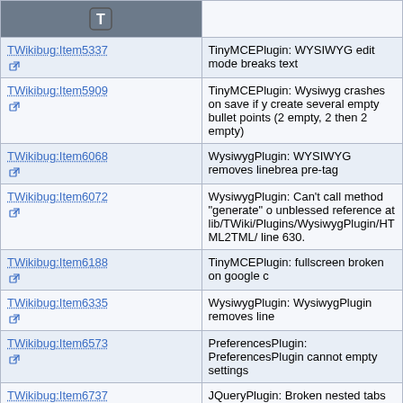| Link | Description |
| --- | --- |
| TWikibug:Item5337 | TinyMCEPlugin: WYSIWYG edit mode breaks text |
| TWikibug:Item5909 | TinyMCEPlugin: Wysiwyg crashes on save if you create several empty bullet points (2 empty, 2 then 2 empty) |
| TWikibug:Item6068 | WysiwygPlugin: WYSIWYG removes linebreaks pre-tag |
| TWikibug:Item6072 | WysiwygPlugin: Can't call method "generate" on unblessed reference at lib/TWiki/Plugins/WysiwygPlugin/HTML2TML/ line 630. |
| TWikibug:Item6188 | TinyMCEPlugin: fullscreen broken on google c |
| TWikibug:Item6335 | WysiwygPlugin: WysiwygPlugin removes line |
| TWikibug:Item6573 | PreferencesPlugin: PreferencesPlugin cannot empty settings |
| TWikibug:Item6737 | JQueryPlugin: Broken nested tabs |
| TWikibug:Item6889 | TWiki::Render::renderRevisonInfo(). incorrectly |